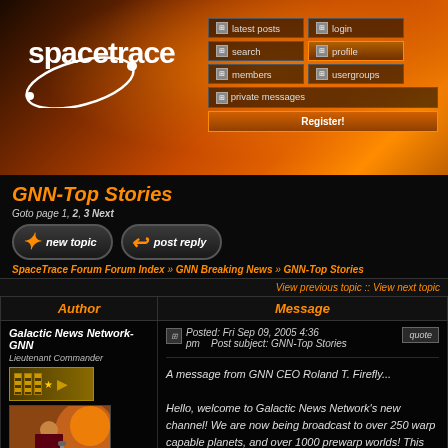[Figure (screenshot): SpaceTrace forum website header banner with orange/black space theme, logo 'spacetrace' with orbital rings, navigation menu with latest posts, login, search, profile, members, usergroups, private messages, Register! button]
GNN-Top Stories
Goto page 1, 2, 3 Next
new topic   post reply
SpaceTrace Forum Forum Index » GNN Breaking News » GNN-Top Stories
View previous topic :: View next topic
| Author | Message |
| --- | --- |
| Galactic News Network-GNN
Lieutenant Commander
[rank badge]
[avatar]
Joined: 28 Aug 2005
Posts: 64
Location: Channel 3282.43 on | Posted: Fri Sep 09, 2005 4:36 pm   Post subject: GNN-Top Stories

A message from GNN CEO Roland T. Firefly...

Hello, welcome to Galactic News Network's new channel! We are now being broadcast to over 250 warp capable planets, and over 1000 prewarp worlds! This makes us the largest news broadcasting agency in |